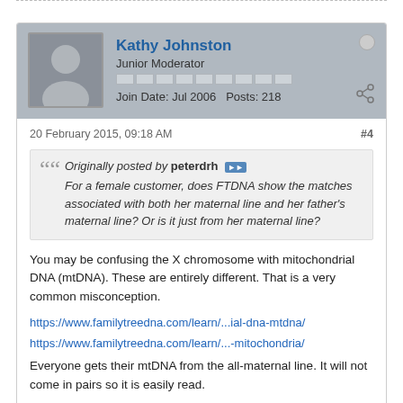[Figure (screenshot): Forum post header with avatar, username Kathy Johnston, Junior Moderator, Join Date Jul 2006, Posts 218]
20 February 2015, 09:18 AM
#4
Originally posted by peterdrh
For a female customer, does FTDNA show the matches associated with both her maternal line and her father's maternal line? Or is it just from her maternal line?
You may be confusing the X chromosome with mitochondrial DNA (mtDNA). These are entirely different. That is a very common misconception.
https://www.familytreedna.com/learn/...ial-dna-mtdna/
https://www.familytreedna.com/learn/...-mitochondria/
Everyone gets their mtDNA from the all-maternal line. It will not come in pairs so it is easily read.
The X can pass through some males in your ancestry no matter